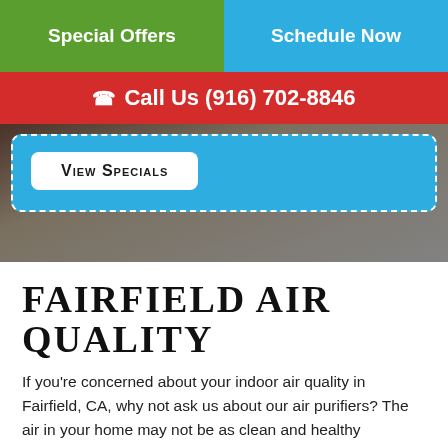Special Offers | Schedule Now
Call Us (916) 702-8846
[Figure (screenshot): Hero banner with blue CTA box with dashed white border containing a 'View Specials' button, over a dark blurred background image]
FAIRFIELD AIR QUALITY
If you're concerned about your indoor air quality in Fairfield, CA, why not ask us about our air purifiers? The air in your home may not be as clean and healthy